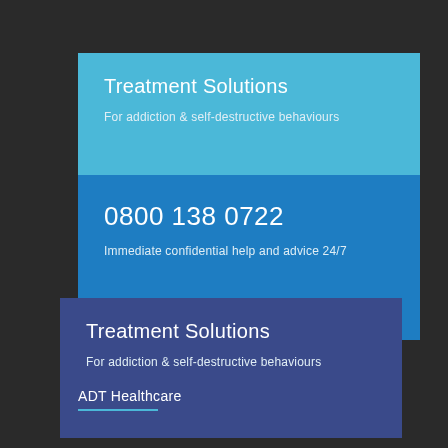Treatment Solutions
For addiction & self-destructive behaviours
0800 138 0722
Immediate confidential help and advice 24/7
Treatment Solutions
For addiction & self-destructive behaviours
ADT Healthcare